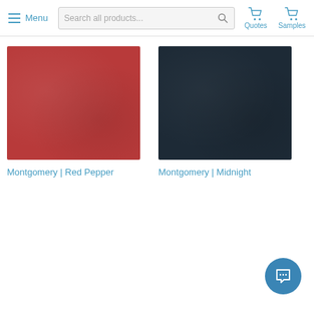Menu | Search all products... | Quotes | Samples
[Figure (photo): Red textured fabric swatch labeled Montgomery | Red Pepper]
Montgomery | Red Pepper
[Figure (photo): Dark navy/midnight textured fabric swatch labeled Montgomery | Midnight]
Montgomery | Midnight